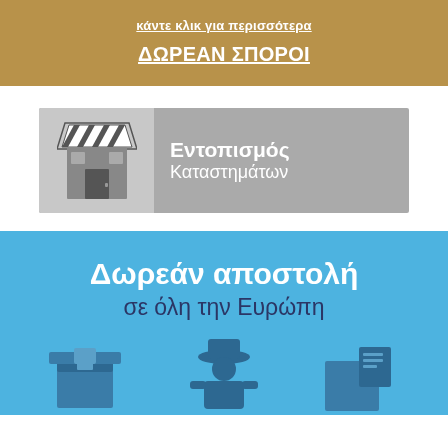[Figure (infographic): Brown/tan banner with white underlined Greek text: 'κάντε κλικ για περισσότερα' and 'ΔΩΡΕΑΝ ΣΠΟΡΟΙ']
[Figure (infographic): Gray banner with store/market stall icon on left and white Greek text 'Εντοπισμός Καταστημάτων' on gray background]
[Figure (infographic): Blue banner with white bold Greek text 'Δωρεάν αποστολή' and dark text 'σε όλη την Ευρώπη', with three icons: box, person with hat, box with document]